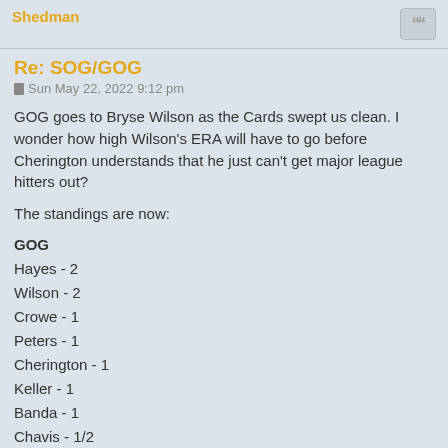Shedman
Re: SOG/GOG
Sun May 22, 2022 9:12 pm
GOG goes to Bryse Wilson as the Cards swept us clean. I wonder how high Wilson's ERA will have to go before Cherington understands that he just can't get major league hitters out?
The standings are now:
GOG
Hayes - 2
Wilson - 2
Crowe - 1
Peters - 1
Cherington - 1
Keller - 1
Banda - 1
Chavis - 1/2
Castro - 1/2
SOG
Vogelbach - 2